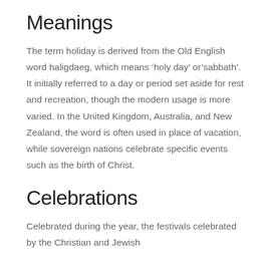Meanings
The term holiday is derived from the Old English word haligdaeg, which means ‘holy day’ or’sabbath’. It initially referred to a day or period set aside for rest and recreation, though the modern usage is more varied. In the United Kingdom, Australia, and New Zealand, the word is often used in place of vacation, while sovereign nations celebrate specific events such as the birth of Christ.
Celebrations
Celebrated during the year, the festivals celebrated by the Christian and Jewish